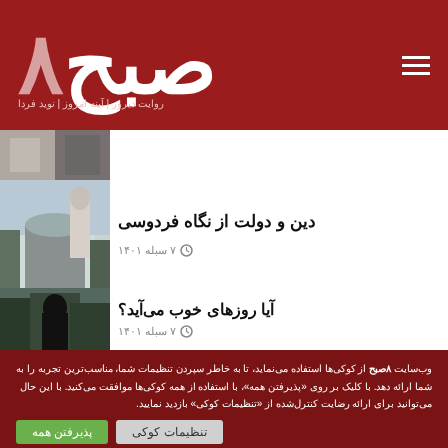8صبح — روایت دیروز، آینه امروز، نوید فردا
[Figure (photo): Partial image at top of content area, grayscale photo]
دین و دولت از نگاه فردوسی
۷ سبله ۱۴۰۱
[Figure (photo): Photo of Ferdowsi tomb monument with statue]
آیا روزهای خوب می‌آید؟
۷ سبله ۱۴۰۱
[Figure (photo): Dark silhouette photo of person under trees]
وب‌سایت ۸صبح از کوکی‌ها استفاده می‌نماید، تا به خاطر سپردن تنظیمات شما، مناسب‌ترین تجربه را به شما ارائه دهد. با کلیک بر روی «پذیرفتن همه»، با استفاده از همه کوکی‌ها موافقت می‌کنید. با این حال می‌توانید برای ارائه رضایت کنترل‌شده از «تنظیمات کوکی» بازدید نمایید.
پذیرفتن همه
تنظیمات کوکی